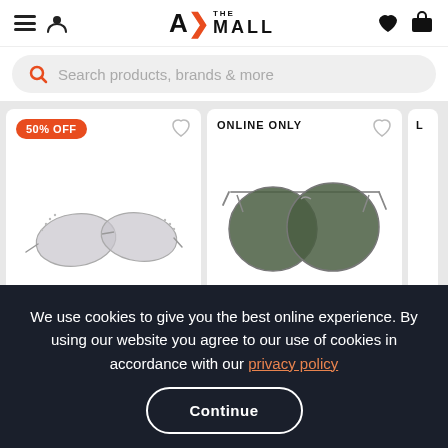A> THE MALL - navigation bar with hamburger menu, user icon, logo, heart and cart icons
Search products, brands & more
[Figure (screenshot): Product card 1: sunglasses with 50% OFF badge and heart icon. Cat-eye frameless sunglasses with gradient grey lenses.]
[Figure (screenshot): Product card 2: sunglasses with ONLINE ONLY label and heart icon. Aviator-style sunglasses with dark green lenses and silver frame.]
[Figure (screenshot): Product card 3 (partially visible): cut off at right edge.]
We use cookies to give you the best online experience. By using our website you agree to our use of cookies in accordance with our privacy policy
Continue